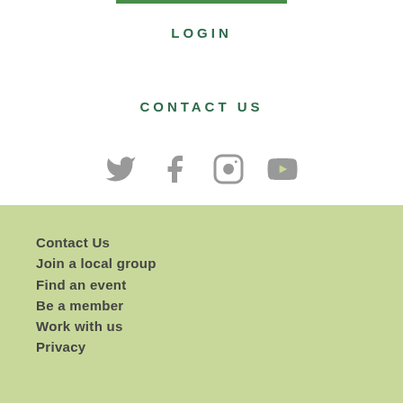LOGIN
CONTACT US
[Figure (infographic): Social media icons: Twitter, Facebook, Instagram, YouTube — all in gray]
Contact Us
Join a local group
Find an event
Be a member
Work with us
Privacy